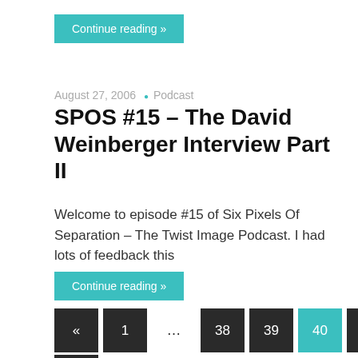Continue reading »
August 27, 2006 • Podcast
SPOS #15 – The David Weinberger Interview Part II
Welcome to episode #15 of Six Pixels Of Separation – The Twist Image Podcast. I had lots of feedback this
Continue reading »
« 1 … 38 39 40 41 ▲ »